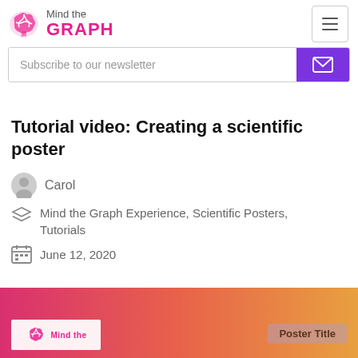Mind the GRAPH
Subscribe to our newsletter
Tutorial video: Creating a scientific poster
Carol
Mind the Graph Experience, Scientific Posters, Tutorials
June 12, 2020
[Figure (screenshot): Thumbnail preview of a scientific poster being created in Mind the Graph, showing gradient orange-pink background with 'Poster Title' placeholder text and Mind the Graph logo in bottom left]